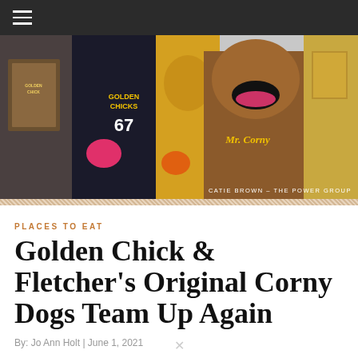≡
[Figure (photo): Photo of Golden Chick mascots and costumed characters posing outside a Golden Chick restaurant, with a corny dog mascot character prominent in the foreground. Photo credit: Catie Brown – The Power Group]
CATIE BROWN – THE POWER GROUP
PLACES TO EAT
Golden Chick & Fletcher's Original Corny Dogs Team Up Again
By: Jo Ann Holt | June 1, 2021